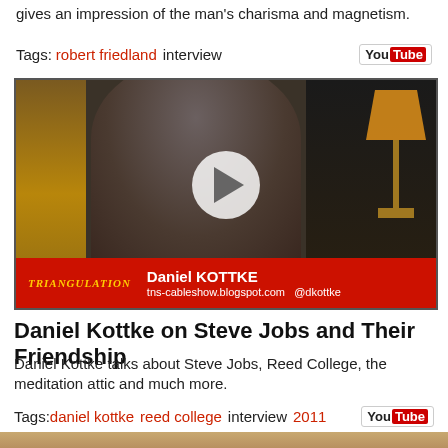gives an impression of the man's charisma and magnetism.
Tags:  robert friedland  interview
[Figure (screenshot): YouTube video thumbnail showing Daniel Kottke being interviewed on the Triangulation TV show. He is seated in a studio with a lamp and circular mirror in background. Lower third red bar reads: TRIANGULATION | Daniel KOTTKE | tns-cableshow.blogspot.com @dkottke. A white play button circle is overlaid in the center.]
Daniel Kottke on Steve Jobs and Their Friendship
Daniel Kottke talks about Steve Jobs, Reed College, the meditation attic and much more.
Tags:  daniel kottke  reed college  interview  2011